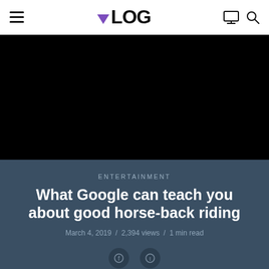VLOG
[Figure (photo): Black banner image area (video/photo thumbnail)]
ENTERTAINMENT
What Google can teach you about good horse-back riding
March 4, 2019 / 2,394 views / 1 min read